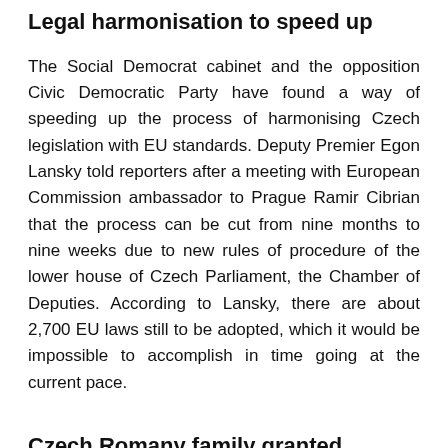Legal harmonisation to speed up
The Social Democrat cabinet and the opposition Civic Democratic Party have found a way of speeding up the process of harmonising Czech legislation with EU standards. Deputy Premier Egon Lansky told reporters after a meeting with European Commission ambassador to Prague Ramir Cibrian that the process can be cut from nine months to nine weeks due to new rules of procedure of the lower house of Czech Parliament, the Chamber of Deputies. According to Lansky, there are about 2,700 EU laws still to be adopted, which it would be impossible to accomplish in time going at the current pace.
Czech Romany family granted asylum in France